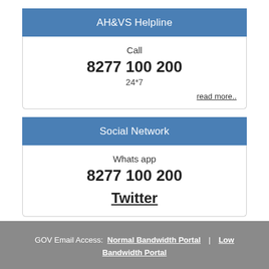AH&VS Helpline
Call
8277 100 200
24*7
read more..
Social Network
Whats app
8277 100 200
Twitter
GOV Email Access: Normal Bandwidth Portal | Low Bandwidth Portal